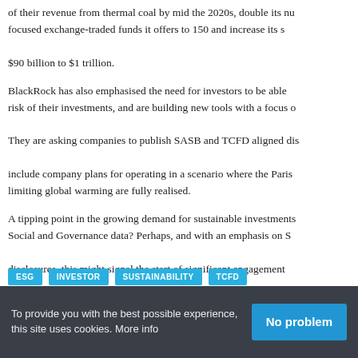of their revenue from thermal coal by mid the 2020s, double its number of sustainability focused exchange-traded funds it offers to 150 and increase its sustainable assets from $90 billion to $1 trillion.
BlackRock has also emphasised the need for investors to be able to understand the risk of their investments, and are building new tools with a focus on sustainability. They are asking companies to publish SASB and TCFD aligned disclosures and include company plans for operating in a scenario where the Paris Agreement goals of limiting global warming are fully realised.
A tipping point in the growing demand for sustainable investments driven by Environmental, Social and Governance data? Perhaps, and with an emphasis on SASB and TCFD aligned disclosures, this might signal the start of significant engagement by institutional investors on ESG reporting.
Read BlackRock’s letter to CEOs here and the letter to clients here
ESG
INVESTOR
SUSTAINABILITY
TCFD
To provide you with the best possible experience, this site uses cookies. More info